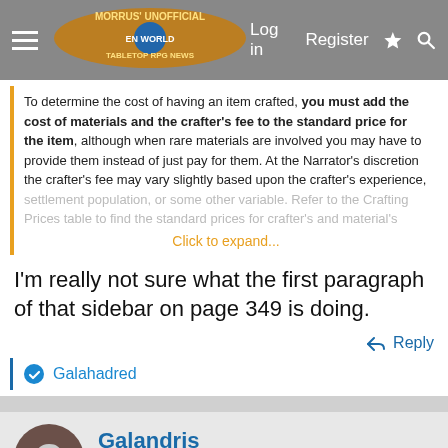Morrus' Unofficial Tabletop RPG News — Log in | Register
To determine the cost of having an item crafted, you must add the cost of materials and the crafter's fee to the standard price for the item, although when rare materials are involved you may have to provide them instead of just pay for them. At the Narrator's discretion the crafter's fee may vary slightly based upon the crafter's experience, settlement population, or some other variable. Refer to the Crafting Prices table to find the standard prices for crafter's and material's ... Click to expand...
I'm really not sure what the first paragraph of that sidebar on page 349 is doing.
Reply
Galahadred
Galandris
Foggy Bottom Campaign Setting Fan